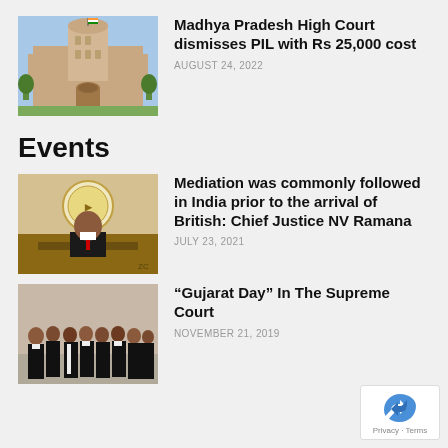[Figure (photo): Photo of Madhya Pradesh High Court building]
Madhya Pradesh High Court dismisses PIL with Rs 25,000 cost
AUGUST 24, 2022
Events
[Figure (photo): Photo of Chief Justice NV Ramana seated at a desk]
Mediation was commonly followed in India prior to the arrival of British: Chief Justice NV Ramana
JULY 23, 2021
[Figure (photo): Group photo of lawyers in black robes at Gujarat Day event]
“Gujarat Day” In The Supreme Court
NOVEMBER 21, 2019